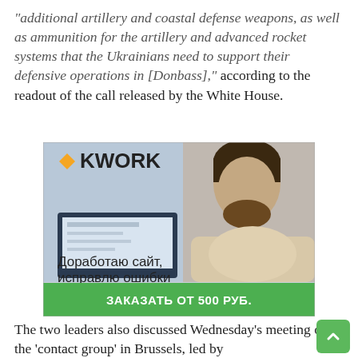“additional artillery and coastal defense weapons, as well as ammunition for the artillery and advanced rocket systems that the Ukrainians need to support their defensive operations in [Donbass],” according to the readout of the call released by the White House.
[Figure (illustration): Kwork advertisement banner showing a man sitting near a laptop. Logo 'KWORK' at top left with orange arrow. Russian text: 'Доработаю сайт, исправлю ошибки'. Green button at bottom: 'ЗАКАЗАТЬ ОТ 500 РУБ.']
The two leaders also discussed Wednesday’s meeting of the ‘contact group’ in Brussels, led by